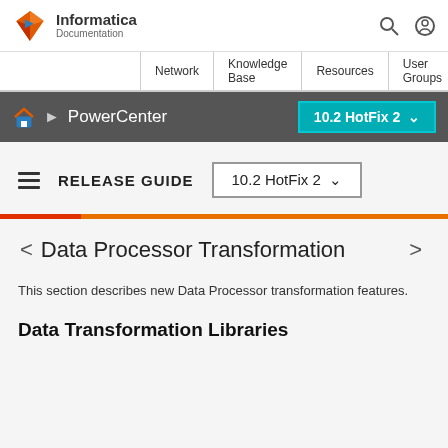[Figure (logo): Informatica Documentation logo with orange/red diamond shape and text]
Network  Knowledge Base  Resources  User Groups
PowerCenter  10.2 HotFix 2
RELEASE GUIDE  10.2 HotFix 2
Data Processor Transformation
This section describes new Data Processor transformation features.
Data Transformation Libraries